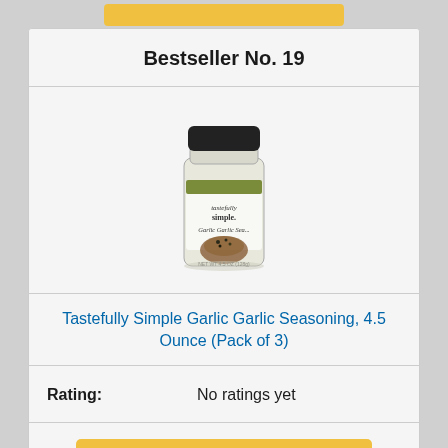Bestseller No. 19
[Figure (photo): Tastefully Simple Garlic Garlic Seasoning product photo - a glass spice shaker with black lid containing herb seasoning blend]
Tastefully Simple Garlic Garlic Seasoning, 4.5 Ounce (Pack of 3)
Rating: No ratings yet
Check on Amazon